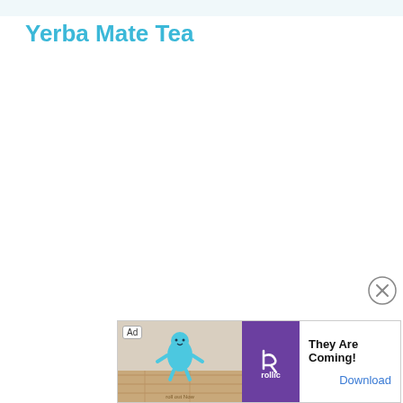Yerba Mate Tea
[Figure (other): Advertisement banner at bottom of page. Shows 'Ad' label, a game illustration with a blue character on a wooden surface, the Rollic purple logo, text 'They Are Coming!' and a 'Download' button link. Close (X) button in upper right of ad area.]